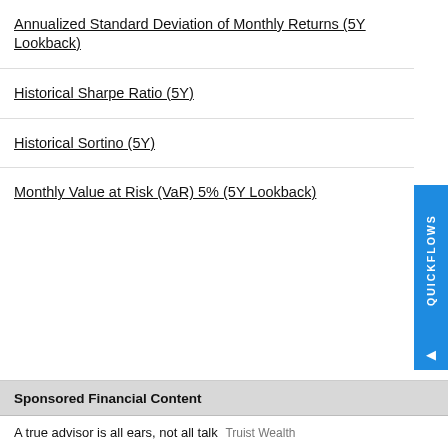Annualized Standard Deviation of Monthly Returns (5Y Lookback)
Historical Sharpe Ratio (5Y)
Historical Sortino (5Y)
Monthly Value at Risk (VaR) 5% (5Y Lookback)
Sponsored Financial Content
A true advisor is all ears, not all talk  Truist Wealth
How To File Your Employee Retention Credit In 2022  Employee Retention | Sear
5 "Millionaire Maker" Stocks To Buy As Markets Crash  Profitable News
The long-term answer to inflation is the energy transition  The Oregon Group
5 Things for Every American to Do Before the Recession Hits  The Penny Hoar